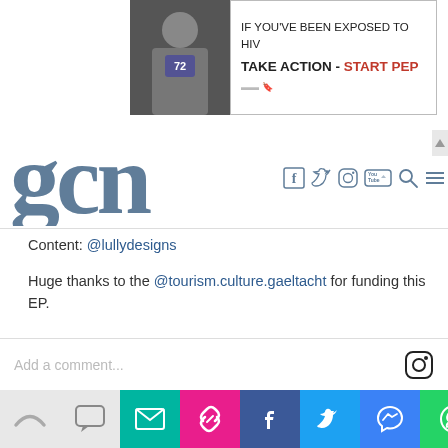[Figure (screenshot): Ad banner: IF YOU'VE BEEN EXPOSED TO HIV TAKE ACTION - START PEP, with a photo of a person wearing jersey number 72]
[Figure (logo): GCN logo in slate blue serif font]
[Figure (screenshot): Navigation icons: Facebook, Twitter, Instagram, YouTube, Search, Menu]
Content: @lullydesigns
Huge thanks to the @tourism.culture.gaeltacht for funding this EP.
.
.
.
.
.
#newmusic #irishmusic #release #queerart #queerpop #spotify #applemusic #deezer #tidal #bandcamp #photography #filmphotography #queerartist #lighting #stbishop #longexposure
view all 6 comments
Add a comment...
[Figure (screenshot): Bottom share bar with email, link, Facebook, Twitter, Messenger, WhatsApp icons]